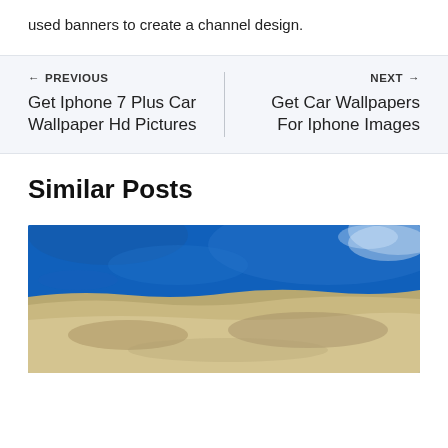used banners to create a channel design.
← PREVIOUS
Get Iphone 7 Plus Car Wallpaper Hd Pictures
NEXT →
Get Car Wallpapers For Iphone Images
Similar Posts
[Figure (photo): Aerial/satellite view of a coastal region showing blue ocean water and sandy/desert terrain]